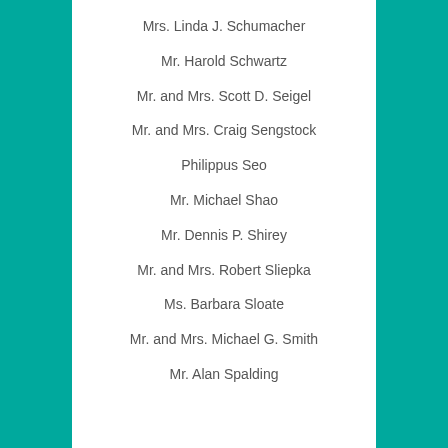Mrs. Linda J. Schumacher
Mr. Harold Schwartz
Mr. and Mrs. Scott D. Seigel
Mr. and Mrs. Craig Sengstock
Philippus Seo
Mr. Michael Shao
Mr. Dennis P. Shirey
Mr. and Mrs. Robert Sliepka
Ms. Barbara Sloate
Mr. and Mrs. Michael G. Smith
Mr. Alan Spalding